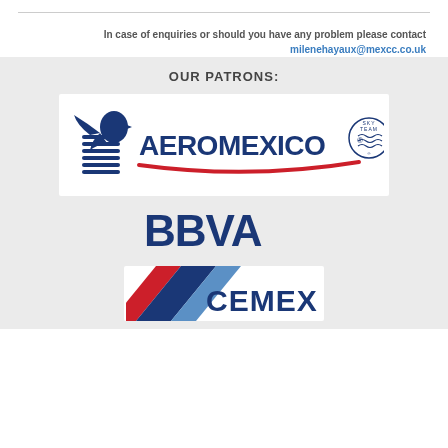In case of enquiries or should you have any problem please contact milenehayaux@mexcc.co.uk
OUR PATRONS:
[Figure (logo): Aeromexico airline logo with eagle and SkyTeam badge]
[Figure (logo): BBVA bank logo in dark navy blue]
[Figure (logo): CEMEX logo partially visible at bottom]